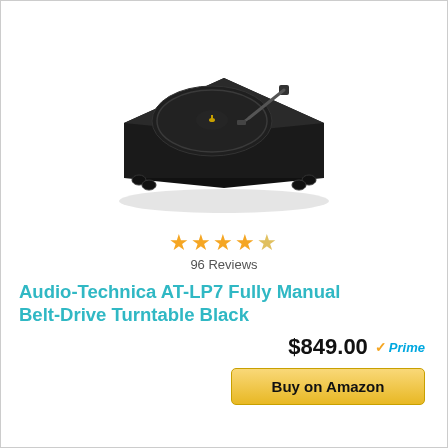[Figure (photo): Black Audio-Technica AT-LP7 belt-drive turntable viewed from above at an angle, showing platter, tonearm, and four feet.]
★★★★☆ 96 Reviews
Audio-Technica AT-LP7 Fully Manual Belt-Drive Turntable Black
$849.00 ✓Prime
Buy on Amazon